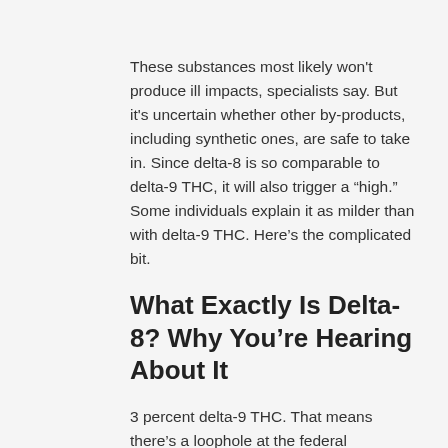These substances most likely won't produce ill impacts, specialists say. But it's uncertain whether other by-products, including synthetic ones, are safe to take in. Since delta-8 is so comparable to delta-9 THC, it will also trigger a “high.” Some individuals explain it as milder than with delta-9 THC. Here’s the complicated bit.
What Exactly Is Delta-8? Why You’re Hearing About It
3 percent delta-9 THC. That means there’s a loophole at the federal